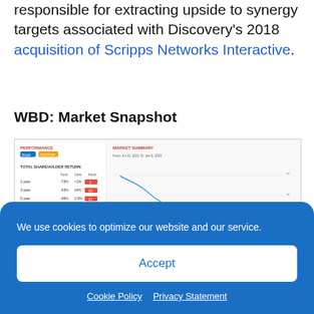responsible for extracting upside to synergy targets associated with Discovery's 2018 acquisition of Scripps Networks Interactive.
WBD: Market Snapshot
[Figure (screenshot): Screenshot of a financial data platform showing WBD (Warner Bros. Discovery) market snapshot, including a performance table with 1-year, 3-year, 5-year returns, market summary data (Comparable Universe, Pay-for-Performance, Say-on-Pay), and a line chart showing stock price decline over time from approximately Jul 13, 2021 to Jan 6, 2023.]
We use cookies to optimize our website and our service.
Accept
Cookie Policy   Privacy Statement